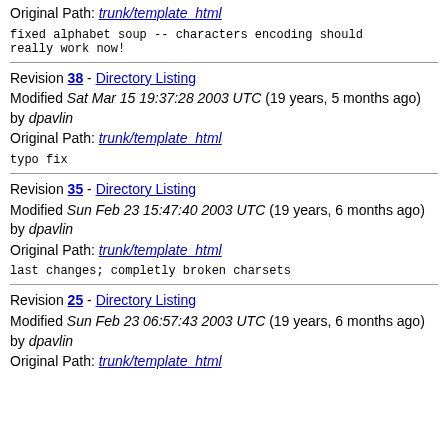Original Path: trunk/template_html
fixed alphabet soup -- characters encoding should really work now!
Revision 38 - Directory Listing
Modified Sat Mar 15 19:37:28 2003 UTC (19 years, 5 months ago) by dpavlin
Original Path: trunk/template_html
typo fix
Revision 35 - Directory Listing
Modified Sun Feb 23 15:47:40 2003 UTC (19 years, 6 months ago) by dpavlin
Original Path: trunk/template_html
last changes; completly broken charsets
Revision 25 - Directory Listing
Modified Sun Feb 23 06:57:43 2003 UTC (19 years, 6 months ago) by dpavlin
Original Path: trunk/template_html